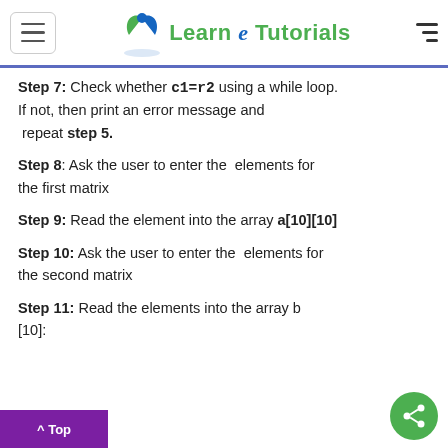Learn e Tutorials
Step 7: Check whether c1=r2 using a while loop. If not, then print an error message and repeat step 5.
Step 8: Ask the user to enter the elements for the first matrix
Step 9: Read the element into the array a[10][10]
Step 10: Ask the user to enter the elements for the second matrix
Step 11: Read the elements into the array b[10][10]: